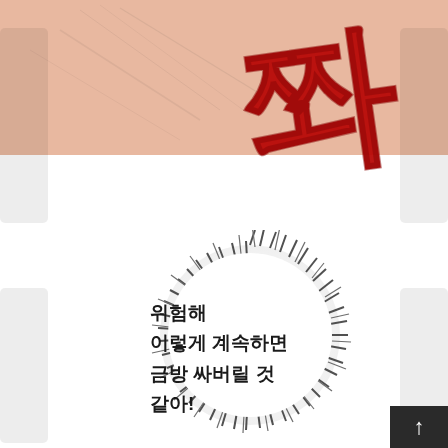[Figure (illustration): Manga/webtoon panel with skin-toned top area with speed lines, large red Korean SFX characters (쫘), watermark text WWW.KRAW.ORG on left and right sides, a spiky circular speech bubble in the lower half with Korean dialogue text inside.]
위험해 이렇게 계속하면 금방 싸버릴 것 같아!